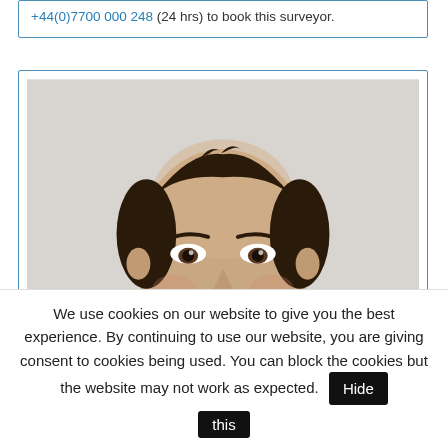+44(0)7700 000 248 (24 hrs) to book this surveyor.
[Figure (photo): Headshot of a middle-aged man with dark hair receding at the temples, smiling slightly, against a light grey background.]
We use cookies on our website to give you the best experience. By continuing to use our website, you are giving consent to cookies being used. You can block the cookies but the website may not work as expected. Hide this